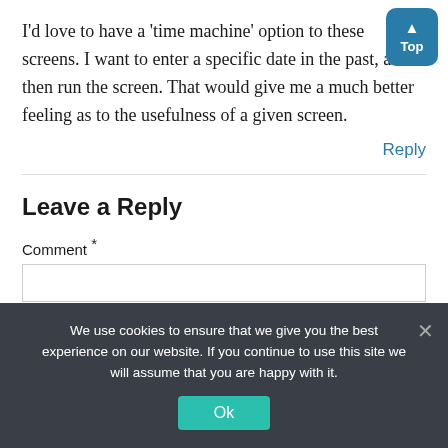I'd love to have a 'time machine' option to these screens. I want to enter a specific date in the past, and then run the screen. That would give me a much better feeling as to the usefulness of a given screen.
Reply
Leave a Reply
Comment *
We use cookies to ensure that we give you the best experience on our website. If you continue to use this site we will assume that you are happy with it.